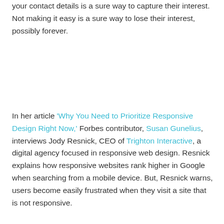your contact details is a sure way to capture their interest. Not making it easy is a sure way to lose their interest, possibly forever.
In her article 'Why You Need to Prioritize Responsive Design Right Now,' Forbes contributor, Susan Gunelius, interviews Jody Resnick, CEO of Trighton Interactive, a digital agency focused in responsive web design. Resnick explains how responsive websites rank higher in Google when searching from a mobile device. But, Resnick warns, users become easily frustrated when they visit a site that is not responsive.
“Someone investigating products and services online can become frustrated